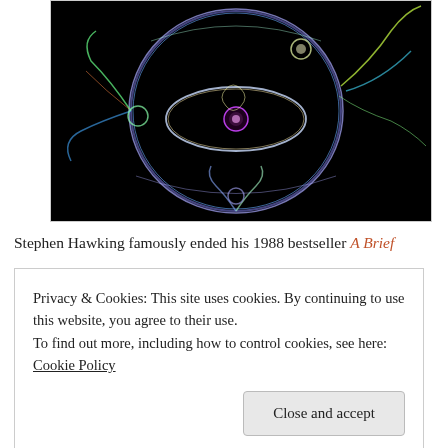[Figure (illustration): Abstract fractal or particle physics visualization showing glowing neon-colored circular orbital rings and energy filaments on black background, reminiscent of an atom or string theory diagram.]
Stephen Hawking famously ended his 1988 bestseller A Brief
Privacy & Cookies: This site uses cookies. By continuing to use this website, you agree to their use.
To find out more, including how to control cookies, see here: Cookie Policy
Close and accept